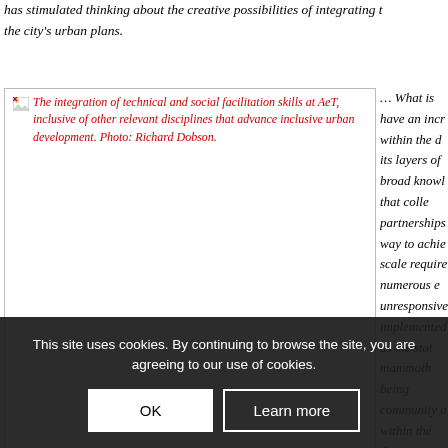has stimulated thinking about the creative possibilities of integrating the city's urban plans.
[Figure (photo): Photo showing integration of technical and social facilitation skills at AeT, inclusive of other relevant disciplines that advance inclusive urban development. Photo: Richard Dobson.]
The integration of technical and social facilitation skills at AeT, inclusive of other relevant disciplines that advance inclusive urban development. Photo: Richard Dobson.
... What is have an incr within the d its layers of broad knowl that colle partnerships way to achie scale require numerous e unresponsive implemented as the stat mammoth ne community a without a supportive within the des cross co-dependent disciplines and the better result in responsive interventions. It will in fact g credibility as a whole.
This site uses cookies. By continuing to browse the site, you are agreeing to our use of cookies.